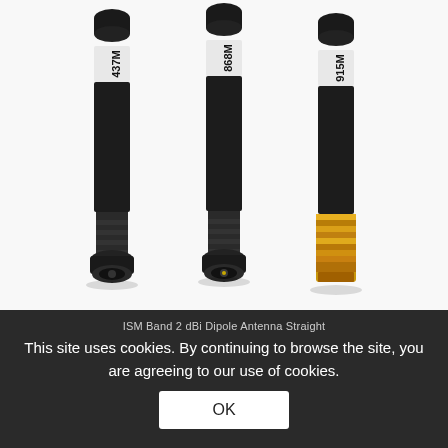[Figure (photo): Three stub antennas side by side on a white background. Left antenna labeled '437M', center labeled '868M', right labeled '915M'. Each is a short black cylindrical stub antenna with a connector at the bottom. Left and center have black threaded SMA connectors; right has a gold SMA male connector.]
ISM Band 2 dBi Dipole Antenna Straight
This site uses cookies. By continuing to browse the site, you are agreeing to our use of cookies.
OK